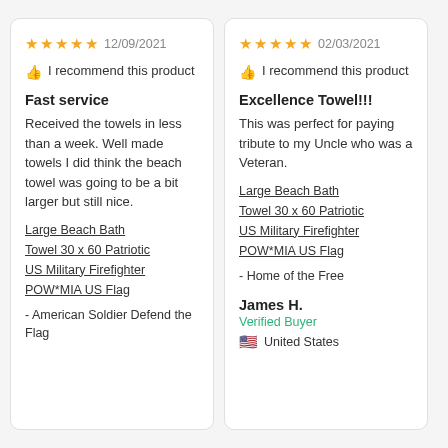★★★★★  12/09/2021
👍 I recommend this product
Fast service
Received the towels in less than a week. Well made towels I did think the beach towel was going to be a bit larger but still nice.
Large Beach Bath Towel 30 x 60 Patriotic US Military Firefighter POW*MIA US Flag
- American Soldier Defend the Flag
★★★★★  02/03/2021
👍 I recommend this product
Excellence Towel!!!
This was perfect for paying tribute to my Uncle who was a Veteran.
Large Beach Bath Towel 30 x 60 Patriotic US Military Firefighter POW*MIA US Flag
- Home of the Free
James H.
Verified Buyer
🇺🇸 United States